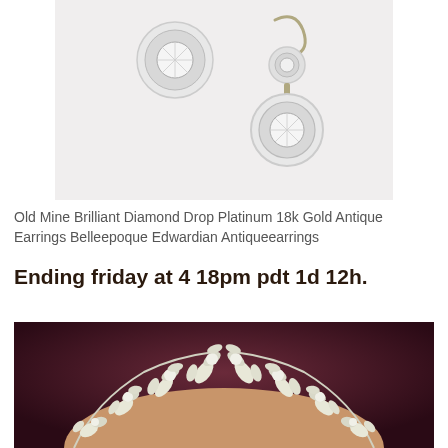[Figure (photo): Photo of antique diamond drop earrings on white background — one stud earring and one drop earring with two round brilliant diamonds]
Old Mine Brilliant Diamond Drop Platinum 18k Gold Antique Earrings Belleepoque Edwardian Antiqueearrings
Ending friday at 4 18pm pdt 1d 12h.
[Figure (photo): Photo of a diamond necklace worn around a person's neck — marquise and round brilliant diamonds set in a leaf/floral pattern, against a deep red-purple background]